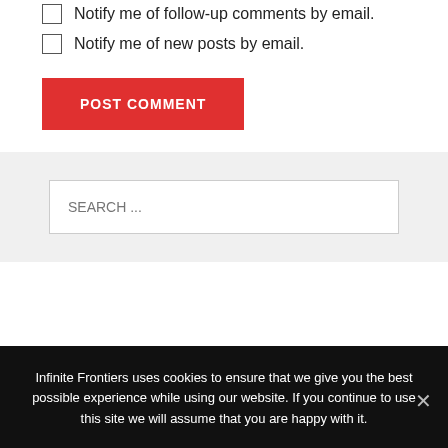Notify me of follow-up comments by email.
Notify me of new posts by email.
POST COMMENT
SEARCH ...
Infinite Frontiers uses cookies to ensure that we give you the best possible experience while using our website. If you continue to use this site we will assume that you are happy with it.